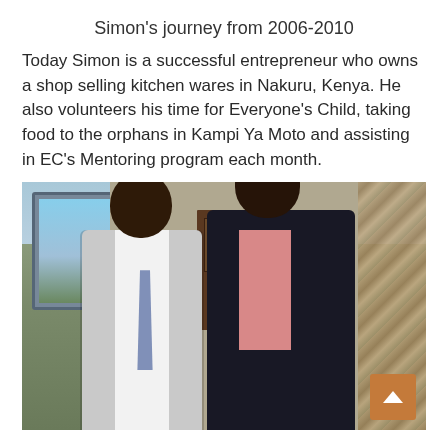Simon’s journey from 2006-2010
Today Simon is a successful entrepreneur who owns a shop selling kitchen wares in Nakuru, Kenya.  He also volunteers his time for Everyone’s Child, taking food to the orphans in Kampi Ya Moto and assisting in EC’s Mentoring program each month.
[Figure (photo): Two men standing together smiling in front of a building. The man on the left wears a white shirt and light blue tie. The man on the right wears a dark jacket over a pink shirt.]